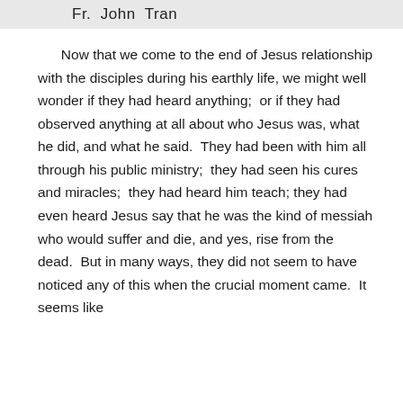Fr.  John  Tran
Now that we come to the end of Jesus relationship with the disciples during his earthly life, we might well wonder if they had heard anything;  or if they had observed anything at all about who Jesus was, what he did, and what he said.  They had been with him all through his public ministry;  they had seen his cures and miracles;  they had heard him teach; they had even heard Jesus say that he was the kind of messiah who would suffer and die, and yes, rise from the dead.  But in many ways, they did not seem to have noticed any of this when the crucial moment came.  It seems like